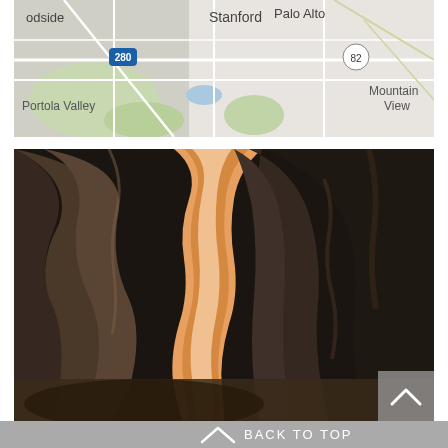[Figure (map): Partial map screenshot showing Palo Alto, Stanford, Portola Valley, Mountain View area with route 280 and 82 marked]
[Figure (photo): Interior of Antelope Canyon slot canyon with narrow orange-lit passage between smooth dark sandstone walls]
[Figure (screenshot): Back to top button overlay with upward chevron on gray background]
BACK TO TOP